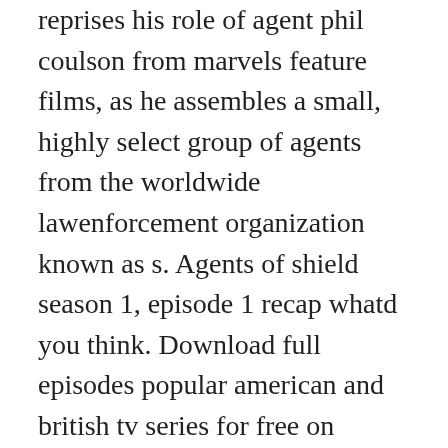reprises his role of agent phil coulson from marvels feature films, as he assembles a small, highly select group of agents from the worldwide lawenforcement organization known as s. Agents of shield season 1, episode 1 recap whatd you think. Download full episodes popular american and british tv series for free on superload. Sep 24, 2015 daisy johnson chloe bennet lends a helping hand in a clip from the season 3 premiere of marvels agents of s.
Watch marvels agents of shield season 1